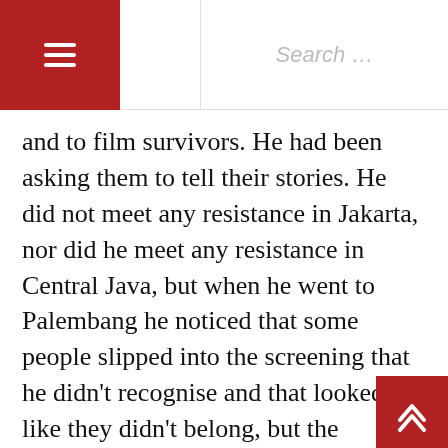≡  Search ...
and to film survivors. He had been asking them to tell their stories. He did not meet any resistance in Jakarta, nor did he meet any resistance in Central Java, but when he went to Palembang he noticed that some people slipped into the screening that he didn't recognise and that looked like they didn't belong, but the screening continued smoothly.  The next day he flew to Padang and on the flight the flight attendant asked if there was a man named Stefan onboard. Stefan raised his hand and when the plane landed in Padang twenty intelligence agents, police and army personnel picked him